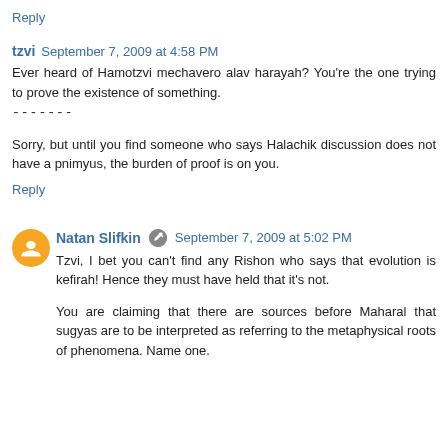Reply
tzvi  September 7, 2009 at 4:58 PM
Ever heard of Hamotzvi mechavero alav harayah? You're the one trying to prove the existence of something.
-------
Sorry, but until you find someone who says Halachik discussion does not have a pnimyus, the burden of proof is on you.
Reply
Natan Slifkin  September 7, 2009 at 5:02 PM
Tzvi, I bet you can't find any Rishon who says that evolution is kefirah! Hence they must have held that it's not.
You are claiming that there are sources before Maharal that sugyas are to be interpreted as referring to the metaphysical roots of phenomena. Name one.